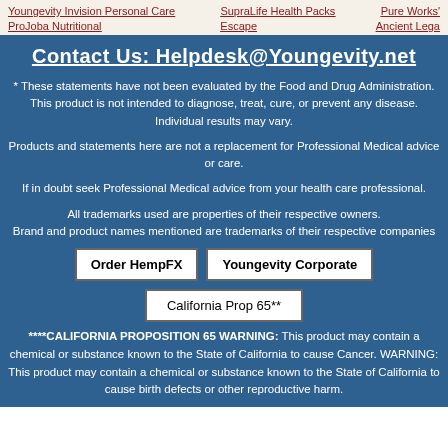Youngevity Invision Personal Care | SupraLife Health Packs | Pure Works' | ProJoba Nutritional | Escape | Ancient Lega
Contact Us: Helpdesk@Youngevity.net
* These statements have not been evaluated by the Food and Drug Administration. This product is not intended to diagnose, treat, cure, or prevent any disease. Individual results may vary.
Products and statements here are not a replacement for Professional Medical advice or care.
If in doubt seek Professional Medical advice from your health care professional.
All trademarks used are properties of their respective owners. Brand and product names mentioned are trademarks of their respective companies
Order HempFX | Youngevity Corporate
California Prop 65**
****CALIFORNIA PROPOSITION 65 WARNING: This product may contain a chemical or substance known to the State of California to cause Cancer. WARNING: This product may contain a chemical or substance known to the State of California to cause birth defects or other reproductive harm.